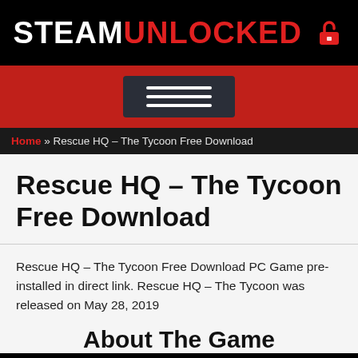STEAMUNLOCKED
[Figure (other): Navigation hamburger menu button on red background]
Home » Rescue HQ – The Tycoon Free Download
Rescue HQ – The Tycoon Free Download
Rescue HQ – The Tycoon Free Download PC Game pre-installed in direct link. Rescue HQ – The Tycoon was released on May 28, 2019
About The Game